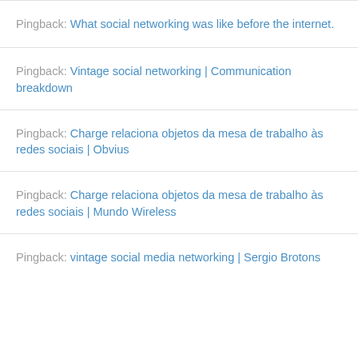Pingback: What social networking was like before the internet.
Pingback: Vintage social networking | Communication breakdown
Pingback: Charge relaciona objetos da mesa de trabalho às redes sociais | Obvius
Pingback: Charge relaciona objetos da mesa de trabalho às redes sociais | Mundo Wireless
Pingback: vintage social media networking | Sergio Brotons